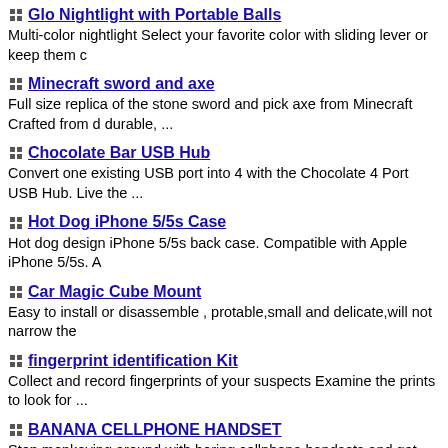Glo Nightlight with Portable Balls
Multi-color nightlight Select your favorite color with sliding lever or keep them c
Minecraft sword and axe
Full size replica of the stone sword and pick axe from Minecraft Crafted from d durable, ...
Chocolate Bar USB Hub
Convert one existing USB port into 4 with the Chocolate 4 Port USB Hub. Live the ...
Hot Dog iPhone 5/5s Case
Hot dog design iPhone 5/5s back case. Compatible with Apple iPhone 5/5s. A
Car Magic Cube Mount
Easy to install or disassemble , protable,small and delicate,will not narrow the
fingerprint identification Kit
Collect and record fingerprints of your suspects Examine the prints to look for ...
BANANA CELLPHONE HANDSET
Stop monkeying around with boring cellphone handsets and get the one with n thoughts of ...
YELLOW BANANA SHAPE PHONE CASE FOR IPHONE5/5S/4/4S
With the use of this case,it provides easy access to all controls,buttons and fe having ...
Camera Lens Kitchen Timer